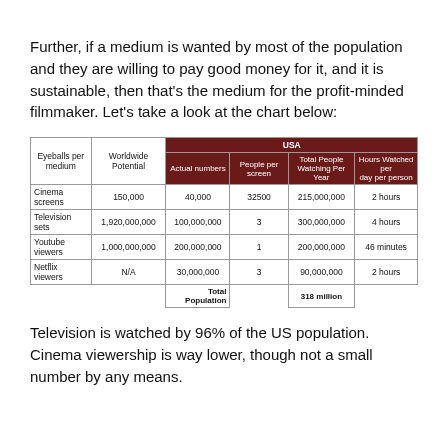Further, if a medium is wanted by most of the population and they are willing to pay good money for it, and it is sustainable, then that's the medium for the profit-minded filmmaker. Let's take a look at the chart below:
| Eyeballs per medium | Worldwide Potential | Actual numbers | People per screen | Total People Watching Per Year | Hours Watched per day per person |
| --- | --- | --- | --- | --- | --- |
| Cinema screens | 150,000 | 40,000 | 32500 | 215,000,000 | 2 hours |
| Television sets | 1,920,000,000 | 100,000,000 | 3 | 300,000,000 | 4 hours |
| Youtube viewers | 1,000,000,000 | 200,000,000 | 1 | 200,000,000 | 46 minutes |
| Netflix viewers | N/A | 30,000,000 | 3 | 90,000,000 | 2 hours |
|  |  | Total Population |  | 318 million |  |
Television is watched by 96% of the US population. Cinema viewership is way lower, though not a small number by any means.